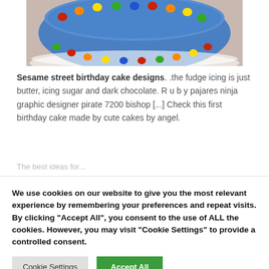[Figure (photo): A blue birthday cake decorated with colorful M&M candies around the edges, shown from slightly above. The bottom portion of a round blue-frosted cake is visible with red, green, yellow, orange candies arranged around the border.]
Sesame street birthday cake designs. .the fudge icing is just butter, icing sugar and dark chocolate. R u b y pajares ninja graphic designer pirate 7200 bishop [...] Check this first birthday cake made by cute cakes by angel.
We use cookies on our website to give you the most relevant experience by remembering your preferences and repeat visits. By clicking "Accept All", you consent to the use of ALL the cookies. However, you may visit "Cookie Settings" to provide a controlled consent.